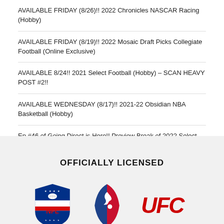AVAILABLE FRIDAY (8/26)!! 2022 Chronicles NASCAR Racing (Hobby)
AVAILABLE FRIDAY (8/19)!! 2022 Mosaic Draft Picks Collegiate Football (Online Exclusive)
AVAILABLE 8/24!! 2021 Select Football (Hobby) – SCAN HEAVY POST #2!!
AVAILABLE WEDNESDAY (8/17)!! 2021-22 Obsidian NBA Basketball (Hobby)
Ep #46 of Going Direct is Here!! Preview Break of 2022 Select
OFFICIALLY LICENSED
[Figure (logo): NFL shield logo in blue and red]
[Figure (logo): NBA silhouette logo in blue and red]
[Figure (logo): UFC logo in red]